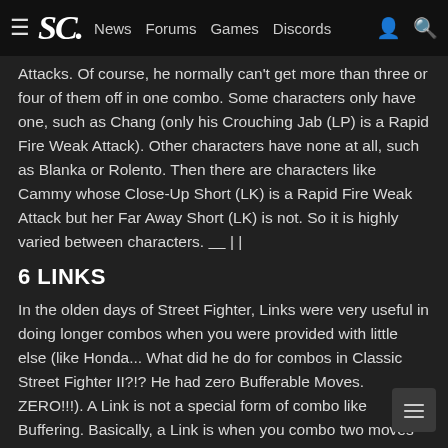≡ SC. News Forums Games Discords 👤 🔍
Attacks. Of course, he normally can't get more than three or four of them off in one combo. Some characters only have one, such as Chang (only his Crouching Jab (LP) is a Rapid Fire Weak Attack). Other characters have none at all, such as Blanka or Rolento. Then there are characters like Cammy whose Close-Up Short (LK) is a Rapid Fire Weak Attack but her Far Away Short (LK) is not. So it is highly varied between characters. ___ | |
6 LINKS
In the olden days of Street Fighter, Links were very useful in doing longer combos when you were provided with little else (like Honda... What did he do for combos in Classic Street Fighter II?!? He had zero Bufferable Moves. ZERO!!!). A Link is not a special form of combo like Buffering. Basically, a Link is when you combo two moves in a row using no special methods. Usually, a Link occurs if the first move ends fast enough so that a second move, which typically comes out really quickly, can hit the enemy before he/she finishes recovering from his/her Reel Stun. Thus, the two hits register as a two-hit Combo. Links have become highly prominent in Capcom Vs. SNK. In fa